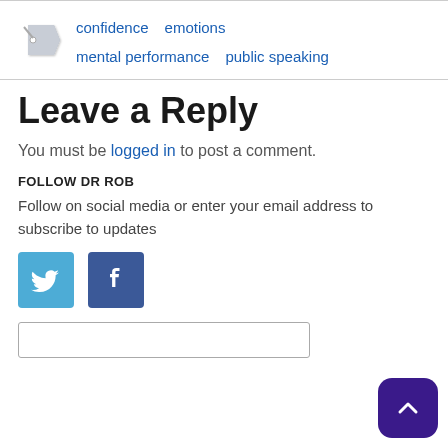[Figure (other): Tag icon with links: confidence, emotions, mental performance, public speaking]
Leave a Reply
You must be logged in to post a comment.
FOLLOW DR ROB
Follow on social media or enter your email address to subscribe to updates
[Figure (other): Twitter and Facebook social media icon buttons]
[Figure (other): Email subscription input field]
[Figure (other): Scroll-to-top button (purple rounded square with up chevron)]